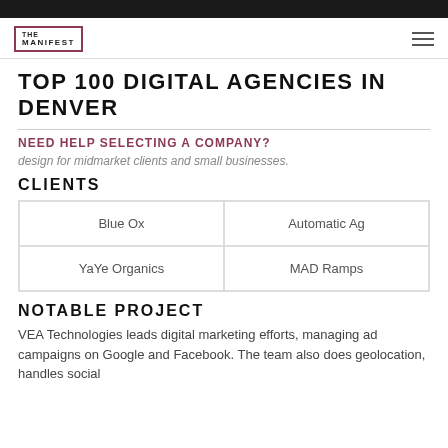THE MANIFEST
TOP 100 DIGITAL AGENCIES IN DENVER
NEED HELP SELECTING A COMPANY?
design for midmarket clients and small businesses.
CLIENTS
| Blue Ox | Automatic Ag |
| YaYe Organics | MAD Ramps |
NOTABLE PROJECT
VEA Technologies leads digital marketing efforts, managing ad campaigns on Google and Facebook. The team also does geolocation, handles social